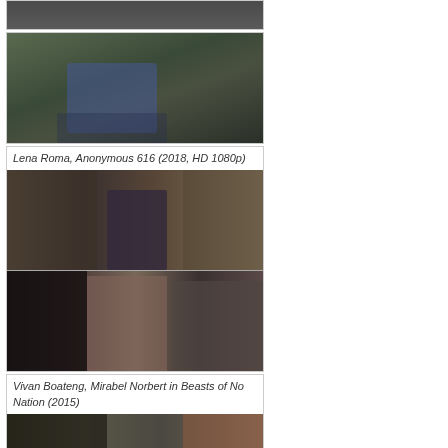[Figure (photo): Partial view of a person sitting outdoors in a wooded area, wearing blue clothing]
Lena Roma, Anonymous 616 (2018, HD 1080p)
[Figure (photo): Two film stills from Anonymous 616 (2018) showing indoor scenes]
Vivan Boateng, Mirabel Norbert in Beasts of No Nation (2015)
[Figure (photo): Partial view of a film still from Beasts of No Nation (2015)]